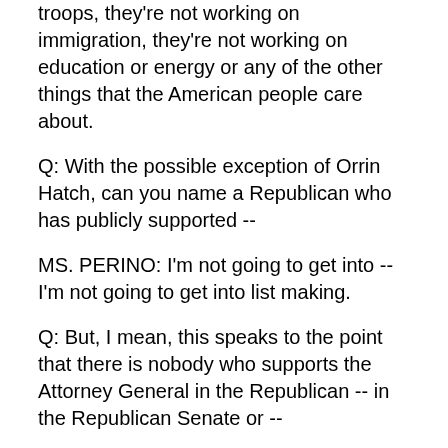troops, they're not working on immigration, they're not working on education or energy or any of the other things that the American people care about.
Q: With the possible exception of Orrin Hatch, can you name a Republican who has publicly supported --
MS. PERINO: I'm not going to get into -- I'm not going to get into list making.
Q: But, I mean, this speaks to the point that there is nobody who supports the Attorney General in the Republican -- in the Republican Senate or --
MS. PERINO: I think that you've heard -- I think that you've heard members of Congress say that they want to hear from the Attorney General, and they're going to have an opportunity to do that on April 17th.
Q: -- doesn't mean that they support him?
MS. PERINO: Well, they said -- they have legitimate questions. And we have said that the Attorney General needs to be able to address their concerns, and that's what he is going to do.